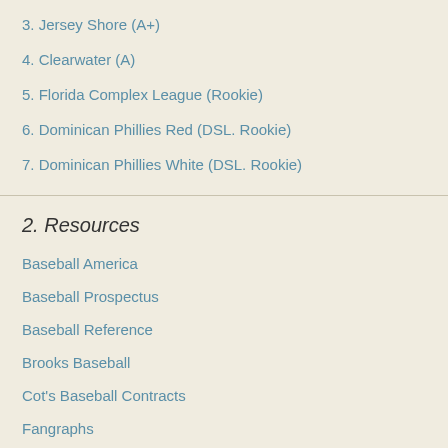3. Jersey Shore (A+)
4. Clearwater (A)
5. Florida Complex League (Rookie)
6. Dominican Phillies Red (DSL. Rookie)
7. Dominican Phillies White (DSL. Rookie)
2. Resources
Baseball America
Baseball Prospectus
Baseball Reference
Brooks Baseball
Cot's Baseball Contracts
Fangraphs